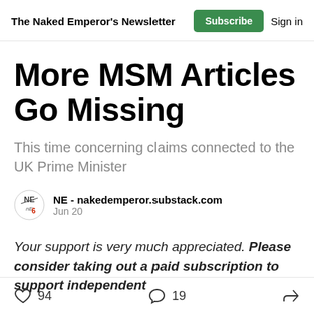The Naked Emperor's Newsletter | Subscribe | Sign in
More MSM Articles Go Missing
This time concerning claims connected to the UK Prime Minister
NE - nakedemperor.substack.com
Jun 20
Your support is very much appreciated. Please consider taking out a paid subscription to support independent
94 likes   19 comments   Share